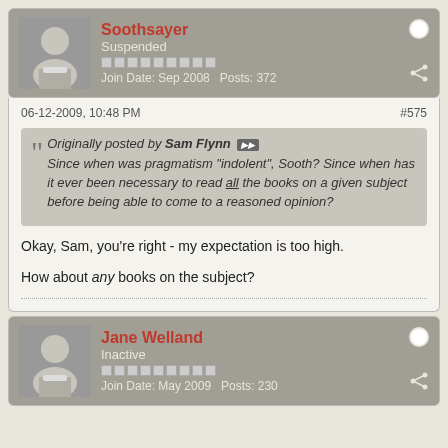Soothsayer — Suspended — Join Date: Sep 2008  Posts: 372
06-12-2009, 10:48 PM  #575
Originally posted by Sam Flynn — Since when was pragmatism "indolent", Sooth? Since when has it ever been necessary to read all the books on a given subject before being able to come to a reasoned opinion?
Okay, Sam, you're right - my expectation is too high.

How about any books on the subject?
Jane Welland — Inactive — Join Date: May 2009  Posts: 230